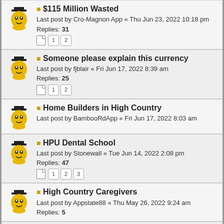$115 Million Wasted
Last post by Cro-Magnon App « Thu Jun 23, 2022 10:18 pm
Replies: 31
Pages: 1 2
Someone please explain this currency
Last post by fjblair « Fri Jun 17, 2022 8:39 am
Replies: 25
Pages: 1 2
Home Builders in High Country
Last post by BambooRdApp « Fri Jun 17, 2022 8:03 am
HPU Dental School
Last post by Stonewall « Tue Jun 14, 2022 2:08 pm
Replies: 47
Pages: 1 2 3
High Country Caregivers
Last post by Appstate88 « Thu May 26, 2022 9:24 am
Replies: 5
Playoff Hockey
Last post by EastHallApp « Mon May 23, 2022 9:36 pm
Replies: 38
Pages: 1 2
In Case You Haven't Seen It
Last post by appfanjj « Thu May 19, 2022 4:37 pm